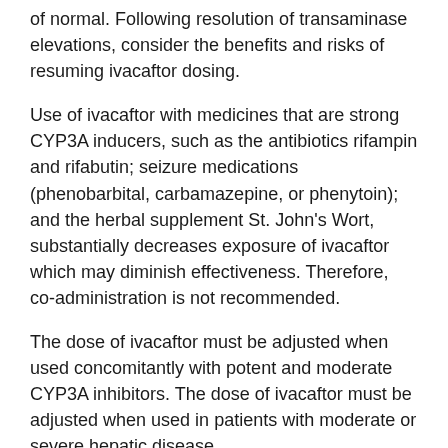of normal. Following resolution of transaminase elevations, consider the benefits and risks of resuming ivacaftor dosing.
Use of ivacaftor with medicines that are strong CYP3A inducers, such as the antibiotics rifampin and rifabutin; seizure medications (phenobarbital, carbamazepine, or phenytoin); and the herbal supplement St. John's Wort, substantially decreases exposure of ivacaftor which may diminish effectiveness. Therefore, co-administration is not recommended.
The dose of ivacaftor must be adjusted when used concomitantly with potent and moderate CYP3A inhibitors. The dose of ivacaftor must be adjusted when used in patients with moderate or severe hepatic disease.
Ivacaftor can cause serious adverse reactions including abdominal pain and high liver enzymes in the blood. The most common side effects associated with ivacaftor include